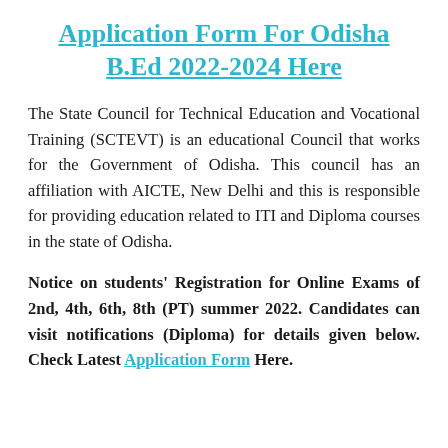Application Form For Odisha B.Ed 2022-2024 Here
The State Council for Technical Education and Vocational Training (SCTEVT) is an educational Council that works for the Government of Odisha. This council has an affiliation with AICTE, New Delhi and this is responsible for providing education related to ITI and Diploma courses in the state of Odisha.
Notice on students' Registration for Online Exams of 2nd, 4th, 6th, 8th (PT) summer 2022. Candidates can visit notifications (Diploma) for details given below. Check Latest Application Form Here.